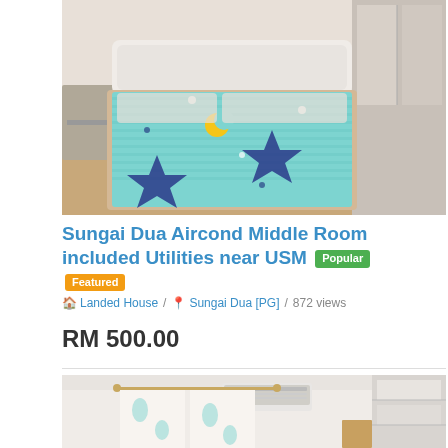[Figure (photo): Photo of a bedroom with a teal/light blue star and moon patterned bedspread on a double bed, wooden floor, white wardrobe in background]
Sungai Dua Aircond Middle Room included Utilities near USM [Popular] [Featured]
Landed House / Sungai Dua [PG] / 872 views
RM 500.00
[Figure (photo): Photo of a bedroom showing a wall-mounted air conditioner unit, floral curtains, and a shelving unit/wardrobe on the right]